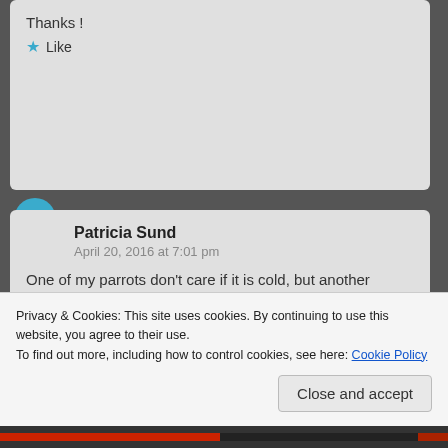Thanks !
Like
Patricia Sund
April 20, 2016 at 7:01 pm
One of my parrots don't care if it is cold, but another prefers it warmer. You can warm it in a microwave if you squish it around in the bag before you serve it to avoid hot spots. Ensure you don't have very warm chop or you might burn them. Each parrot is different and they have their
Privacy & Cookies: This site uses cookies. By continuing to use this website, you agree to their use.
To find out more, including how to control cookies, see here: Cookie Policy
Close and accept